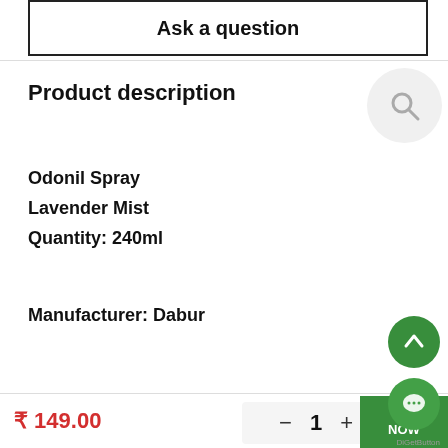Ask a question
Product description
Odonil Spray
Lavender Mist
Quantity: 240ml
Manufacturer: Dabur
₹ 149.00
- 1 +
Buy Now